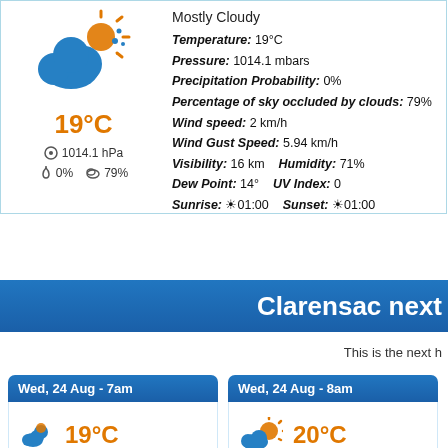[Figure (illustration): Mostly cloudy weather icon: blue cloud with sun peeking behind]
Mostly Cloudy
Temperature: 19°C
Pressure: 1014.1 mbars
Precipitation Probability: 0%
Percentage of sky occluded by clouds: 79%
Wind speed: 2 km/h
Wind Gust Speed: 5.94 km/h
Visibility: 16 km  Humidity: 71%
Dew Point: 14°  UV Index: 0
Sunrise: ☼ 01:00  Sunset: ☼ 01:00
19°C
1014.1 hPa
0%  79%
Clarensac next
This is the next h
Wed, 24 Aug - 7am
19°C
Wed, 24 Aug - 8am
20°C